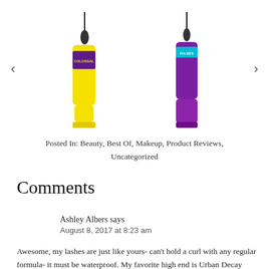[Figure (photo): Two mascara products shown side by side: a yellow Maybelline Colossal Volume Express mascara on the left and a purple Maybelline The Falsies mascara on the right, with navigation arrows on each side.]
Posted In: Beauty, Best Of, Makeup, Product Reviews, Uncategorized
Comments
Ashley Albers says
August 8, 2017 at 8:23 am
Awesome, my lashes are just like yours- can't hold a curl with any regular formula- it must be waterproof. My favorite high end is Urban Decay Cannonball, it's amazing! But I have yet to find a drugstore formula I like- I'll have to try these ones out! Thanks!